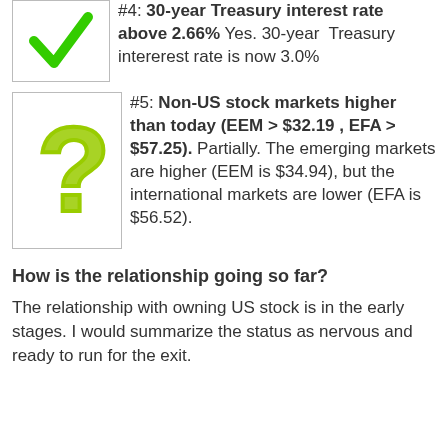#4: 30-year Treasury interest rate above 2.66% Yes. 30-year Treasury intererest rate is now 3.0%
#5: Non-US stock markets higher than today (EEM > $32.19 , EFA > $57.25). Partially. The emerging markets are higher (EEM is $34.94), but the international markets are lower (EFA is $56.52).
How is the relationship going so far?
The relationship with owning US stock is in the early stages. I would summarize the status as nervous and ready to run for the exit.